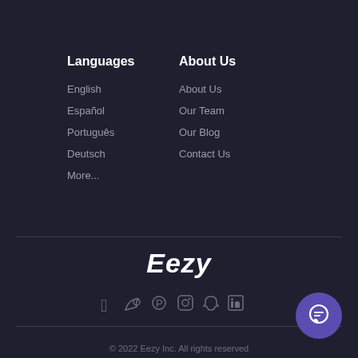Languages
English
Español
Português
Deutsch
More...
About Us
About Us
Our Team
Our Blog
Contact Us
Eezy
[Figure (infographic): Social media icons row: Facebook, Twitter, Pinterest, Instagram, Snapchat, LinkedIn]
[Figure (other): Chat/message button circle with speech bubble icon]
© 2022 Eezy Inc. All rights reserved